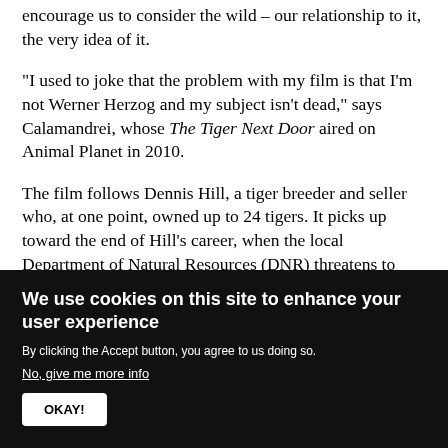encourage us to consider the wild – our relationship to it, the very idea of it.
"I used to joke that the problem with my film is that I'm not Werner Herzog and my subject isn't dead," says Calamandrei, whose The Tiger Next Door aired on Animal Planet in 2010.
The film follows Dennis Hill, a tiger breeder and seller who, at one point, owned up to 24 tigers. It picks up toward the end of Hill's career, when the local Department of Natural Resources (DNR) threatens to shut down his activities. Hill perceives the DNR's actions as a matter of his freedom – it's his freedom to...
We use cookies on this site to enhance your user experience
By clicking the Accept button, you agree to us doing so.
No, give me more info
OKAY!